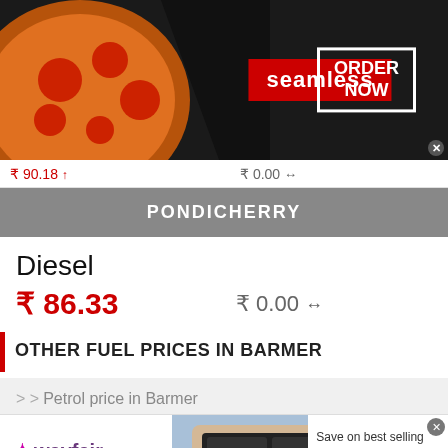[Figure (screenshot): Seamless food ordering advertisement banner with pizza imagery, red Seamless badge, and ORDER NOW button]
₹ 90.18 ↑   ₹ 0.00 ↔
PONDICHERRY
Diesel
₹ 86.33   ₹ 0.00 ↔
OTHER FUEL PRICES IN BARMER
> > Petrol price in Barmer
[Figure (screenshot): Wayfair advertisement banner showing top appliances at low prices with shop now button]